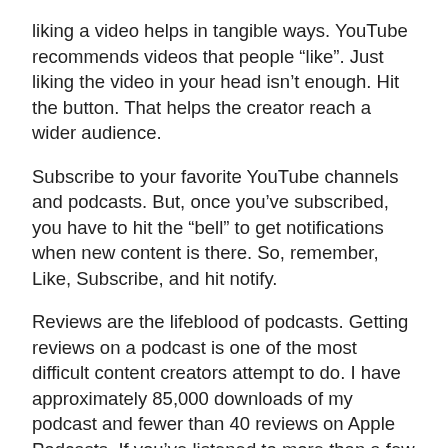liking a video helps in tangible ways. YouTube recommends videos that people “like”. Just liking the video in your head isn’t enough. Hit the button. That helps the creator reach a wider audience.
Subscribe to your favorite YouTube channels and podcasts. But, once you’ve subscribed, you have to hit the “bell” to get notifications when new content is there. So, remember, Like, Subscribe, and hit notify.
Reviews are the lifeblood of podcasts. Getting reviews on a podcast is one of the most difficult content creators attempt to do. I have approximately 85,000 downloads of my podcast and fewer than 40 reviews on Apple Podcasts. If you’ve listened to more than a few episodes of a podcast, please write a review.
Just as important as liking and subscribing is sharing your favorite podcasts and YouTube channels with a couple of friends. We all talked on this one above.